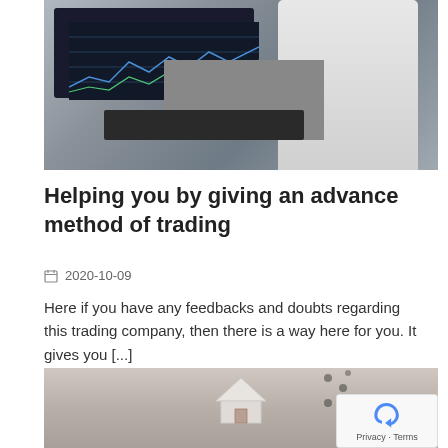[Figure (photo): Person in white shirt working at a desk with multiple monitors and a laptop, in an office setting.]
Helping you by giving an advance method of trading
2020-10-09
Here if you have any feedbacks and doubts regarding this trading company, then there is a way here for you. It gives you [...]
[Figure (photo): Hands holding a small model house, suggesting real estate or property investment.]